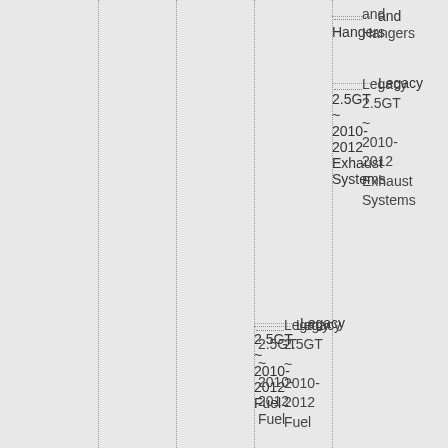and Hangers
Legacy 2.5GT ~ 2010-2012 Exhaust Systems
Legacy 2.5GT ~ 2010-2012 Fuel
Legacy 2.5GT ~ 2010-2012 Fuel Pumps
Legacy 2.5GT ~ 2010-2012 Fuel Injectors
Legacy 2.5GT ~